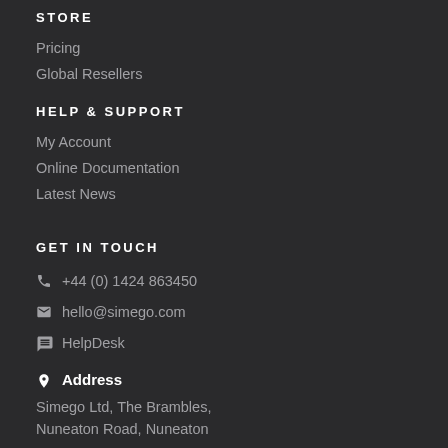STORE
Pricing
Global Resellers
HELP & SUPPORT
My Account
Online Documentation
Latest News
GET IN TOUCH
+44 (0) 1424 863450
hello@simego.com
HelpDesk
Address
Simego Ltd, The Brambles,
Nuneaton Road, Nuneaton